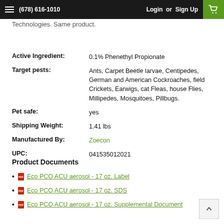(678) 616-1010   Login or Sign Up
Technologies. Same product.
| Field | Value |
| --- | --- |
| Active Ingredient: | 0.1% Phenethyl Propionate |
| Target pests: | Ants, Carpet Beetle larvae, Centipedes, German and American Cockroaches, field Crickets, Earwigs, cat Fleas, house Flies, Millipedes, Mosquitoes, Pillbugs. |
| Pet safe: | yes |
| Shipping Weight: | 1.41 lbs |
| Manufactured By: | Zoecon |
| UPC: | 041535012021 |
Product Documents
Eco PCO ACU aerosol - 17 oz. Label
Eco PCO ACU aerosol - 17 oz. SDS
Eco PCO ACU aerosol - 17 oz. Supplemental Document